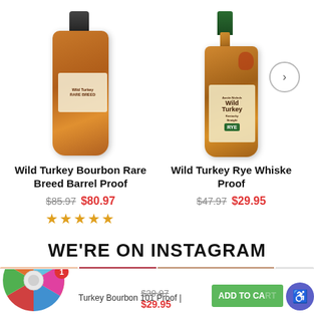[Figure (photo): Product photo of Wild Turkey Bourbon Rare Breed Barrel Proof bottle]
[Figure (photo): Product photo of Wild Turkey Rye Whiskey Proof bottle]
Wild Turkey Bourbon Rare Breed Barrel Proof
$85.97  $80.97
★★★★★
Wild Turkey Rye Whiskey Proof
$47.97  $29.95
WE'RE ON INSTAGRAM
Turkey Bourbon 101 Proof |
$39.97  $29.95
ADD TO CART